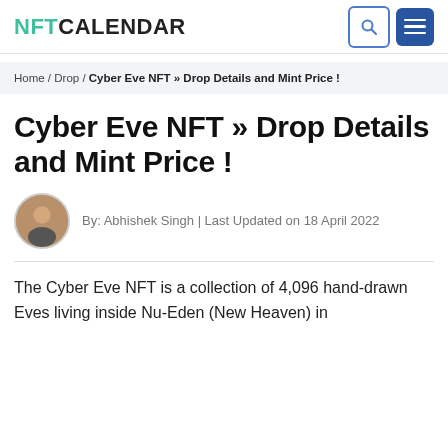NFT CALENDAR
Home / Drop / Cyber Eve NFT » Drop Details and Mint Price !
Cyber Eve NFT » Drop Details and Mint Price !
By: Abhishek Singh | Last Updated on 18 April 2022
The Cyber Eve NFT is a collection of 4,096 hand-drawn Eves living inside Nu-Eden (New Heaven) in